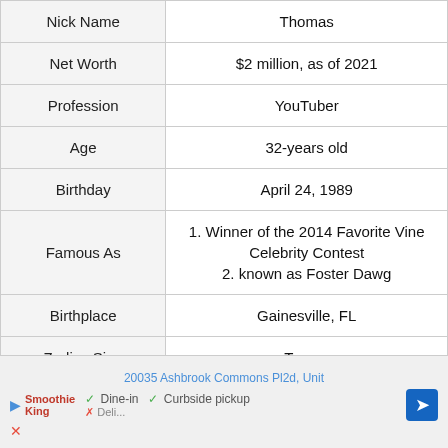| Nick Name | Thomas |
| Net Worth | $2 million, as of 2021 |
| Profession | YouTuber |
| Age | 32-years old |
| Birthday | April 24, 1989 |
| Famous As | 1. Winner of the 2014 Favorite Vine Celebrity Contest
2. known as Foster Dawg |
| Birthplace | Gainesville, FL |
| Zodiac Sign | Taurus |
| Ethnicity | Mixed |
| Na... | ... |